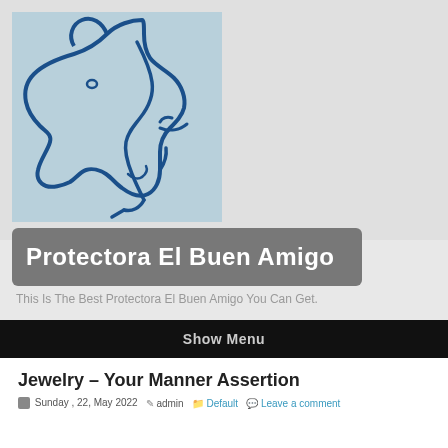[Figure (illustration): Line drawing illustration of a dog and human face profile in blue on light blue background, serving as a website logo]
Protectora El Buen Amigo
This Is The Best Protectora El Buen Amigo You Can Get.
Show Menu
Jewelry – Your Manner Assertion
Sunday , 22, May 2022  admin  Default  Leave a comment